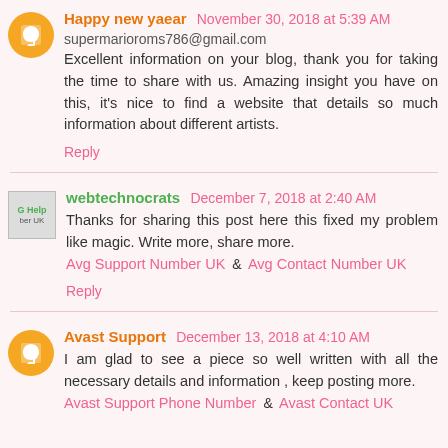Happy new yaear  November 30, 2018 at 5:39 AM
supermarioroms786@gmail.com
Excellent information on your blog, thank you for taking the time to share with us. Amazing insight you have on this, it's nice to find a website that details so much information about different artists.
Reply
webtechnocrats  December 7, 2018 at 2:40 AM
Thanks for sharing this post here this fixed my problem like magic. Write more, share more.
Avg Support Number UK & Avg Contact Number UK
Reply
Avast Support  December 13, 2018 at 4:10 AM
I am glad to see a piece so well written with all the necessary details and information , keep posting more.
Avast Support Phone Number & Avast Contact UK